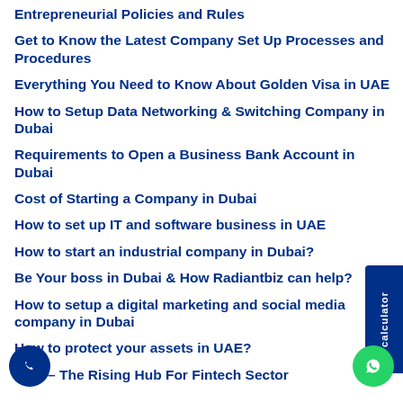Entrepreneurial Policies and Rules
Get to Know the Latest Company Set Up Processes and Procedures
Everything You Need to Know About Golden Visa in UAE
How to Setup Data Networking & Switching Company in Dubai
Requirements to Open a Business Bank Account in Dubai
Cost of Starting a Company in Dubai
How to set up IT and software business in UAE
How to start an industrial company in Dubai?
Be Your boss in Dubai & How Radiantbiz can help?
How to setup a digital marketing and social media company in Dubai
How to protect your assets in UAE?
UAE – The Rising Hub For Fintech Sector